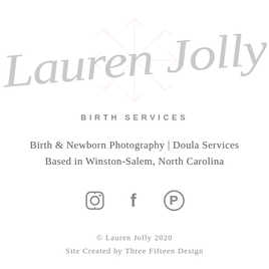[Figure (logo): Lauren Jolly cursive script logo in light gray with a faint floral/snowflake watermark behind the text]
BIRTH SERVICES
Birth & Newborn Photography | Doula Services
Based in Winston-Salem, North Carolina
[Figure (infographic): Three social media icons: Instagram camera icon, Facebook f icon, Pinterest P icon — all in gray]
© Lauren Jolly 2020
Site Created by Three Fifteen Design